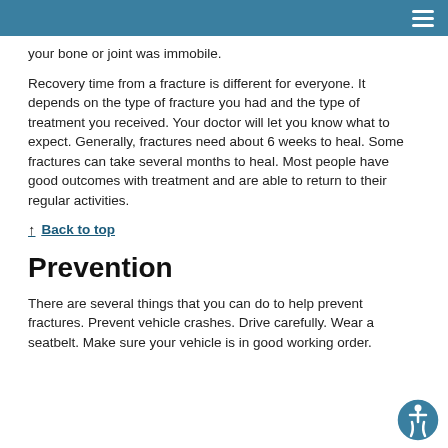your bone or joint was immobile.
Recovery time from a fracture is different for everyone. It depends on the type of fracture you had and the type of treatment you received. Your doctor will let you know what to expect. Generally, fractures need about 6 weeks to heal. Some fractures can take several months to heal. Most people have good outcomes with treatment and are able to return to their regular activities.
↑ Back to top
Prevention
There are several things that you can do to help prevent fractures. Prevent vehicle crashes. Drive carefully. Wear a seatbelt. Make sure your vehicle is in good working order.